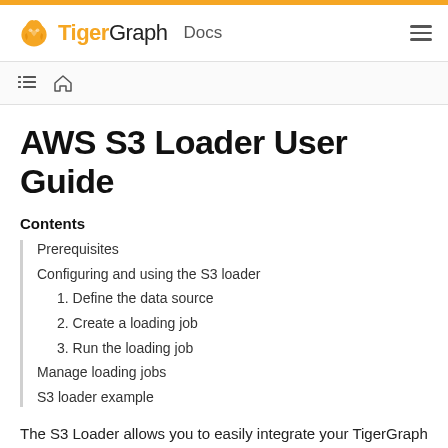TigerGraph Docs
AWS S3 Loader User Guide
Contents
Prerequisites
Configuring and using the S3 loader
1. Define the data source
2. Create a loading job
3. Run the loading job
Manage loading jobs
S3 loader example
The S3 Loader allows you to easily integrate your TigerGraph instance with an Amazon S3 service and